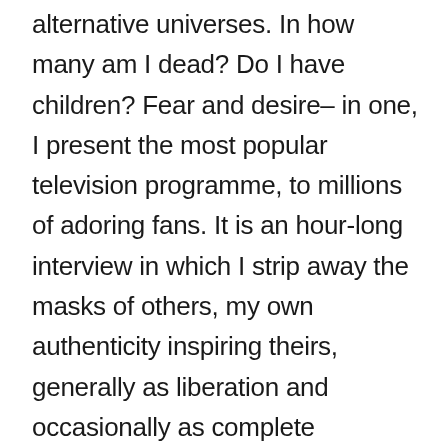I often wonder how my analogues are doing in alternative universes. In how many am I dead? Do I have children? Fear and desire– in one, I present the most popular television programme, to millions of adoring fans. It is an hour-long interview in which I strip away the masks of others, my own authenticity inspiring theirs, generally as liberation and occasionally as complete humiliation– a politician would have to be very brave to accept the invitation. An hour long interview with someone revealing entirely who they are, any age from five to ninety.
Though while electrons are capable of quantum